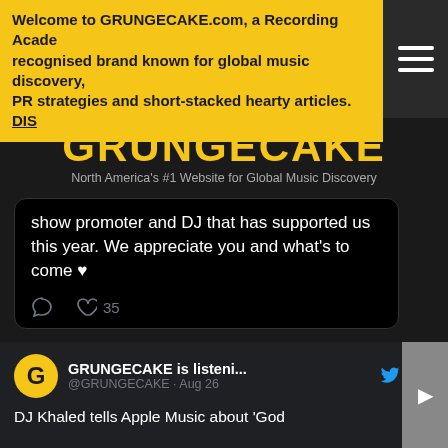Welcome to GRUNGECAKE.com, a Recording Academy recognised brand known for global music discovery, PR strategies and short-stacked hearty articles. DIS
GRUNGECAKE
North America's #1 Website for Global Music Discovery
show promoter and DJ that has supported us this year. We appreciate you and what's to come ♥
35 likes
[Figure (screenshot): View more on Twitter button and Learn more about privacy on Twitter link]
[Figure (screenshot): GRUNGECAKE tweet card: GRUNGECAKE is listeni... @GRUNGECAKE · Aug 26 — DJ Khaled tells Apple Music about 'God]
GRUNGECAKE is listeni...
@GRUNGECAKE · Aug 26
DJ Khaled tells Apple Music about 'God